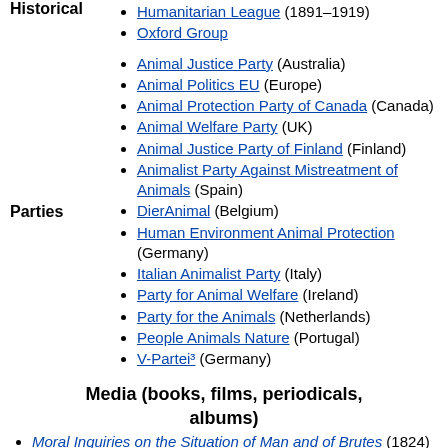Historical
Humanitarian League (1891–1919)
Oxford Group
Parties
Animal Justice Party (Australia)
Animal Politics EU (Europe)
Animal Protection Party of Canada (Canada)
Animal Welfare Party (UK)
Animal Justice Party of Finland (Finland)
Animalist Party Against Mistreatment of Animals (Spain)
DierAnimal (Belgium)
Human Environment Animal Protection (Germany)
Italian Animalist Party (Italy)
Party for Animal Welfare (Ireland)
Party for the Animals (Netherlands)
People Animals Nature (Portugal)
V-Partei³ (Germany)
Media (books, films, periodicals, albums)
Moral Inquiries on the Situation of Man and of Brutes (1824)
Animals' Rights (1892)